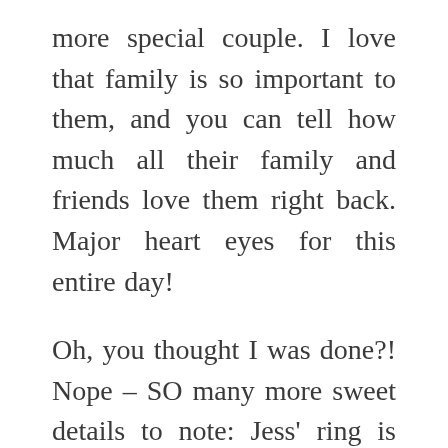more special couple. I love that family is so important to them, and you can tell how much all their family and friends love them right back. Major heart eyes for this entire day!

Oh, you thought I was done?! Nope – SO many more sweet details to note: Jess' ring is her grandma's 20th anniversary ring comprised of 20 little diamonds. Jess' mom removed a row to give to Jess in a set of earrings a while